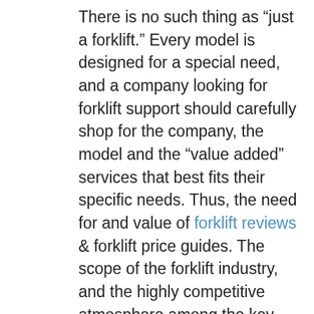There is no such thing as “just a forklift.” Every model is designed for a special need, and a company looking for forklift support should carefully shop for the company, the model and the “value added” services that best fits their specific needs. Thus, the need for and value of forklift reviews & forklift price guides. The scope of the forklift industry, and the highly competitive atmosphere among the key players, make it a buyer’s market. It is most beneficial to take the necessary time to explore your options and to select the best product most favorable to your specific needs and at the best price available. “Knowledge is Power” and Forklift Articles.com is just one website in the growing US Forklift Network of sites created to provide consumers with the best information available to aid in a well-researched and economically sound decision